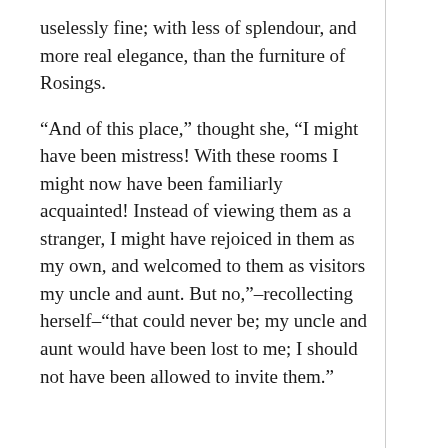uselessly fine; with less of splendour, and more real elegance, than the furniture of Rosings.
“And of this place,” thought she, “I might have been mistress! With these rooms I might now have been familiarly acquainted! Instead of viewing them as a stranger, I might have rejoiced in them as my own, and welcomed to them as visitors my uncle and aunt. But no,”–recollecting herself–“that could never be; my uncle and aunt would have been lost to me; I should not have been allowed to invite them.”